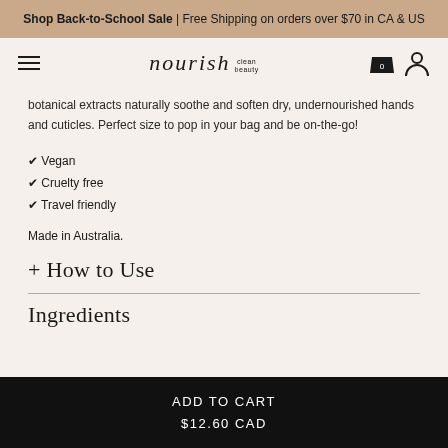Shop Back-to-School Sale | Free Shipping on orders over $70 in CA & US
[Figure (logo): Nourish Clean Beauty logo with hamburger menu, shopping bag icon with 0, and user account icon]
botanical extracts naturally soothe and soften dry, undernourished hands and cuticles. Perfect size to pop in your bag and be on-the-go!
✔ Vegan
✔ Cruelty free
✔ Travel friendly
Made in Australia.
+ How to Use
Ingredients
ADD TO CART
$12.60 CAD